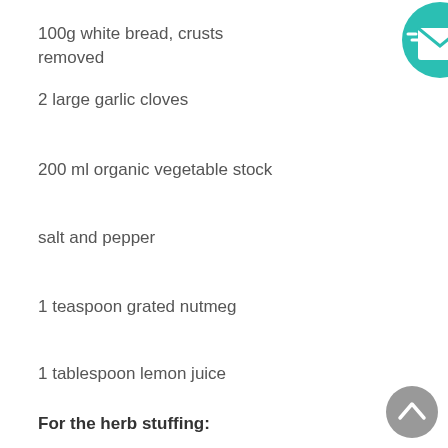100g white bread, crusts removed
2 large garlic cloves
200 ml organic vegetable stock
salt and pepper
1 teaspoon grated nutmeg
1 tablespoon lemon juice
For the herb stuffing:
100g breadcrumbs
50g olive oil spread